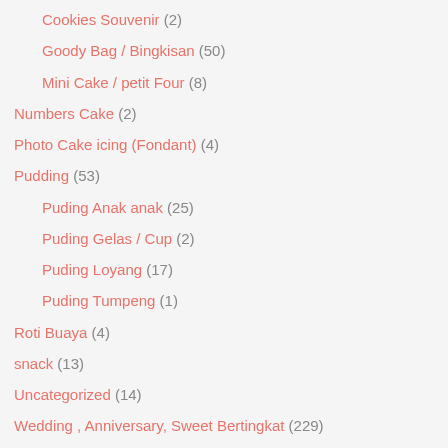Cookies Souvenir (2)
Goody Bag / Bingkisan (50)
Mini Cake / petit Four (8)
Numbers Cake (2)
Photo Cake icing (Fondant) (4)
Pudding (53)
Puding Anak anak (25)
Puding Gelas / Cup (2)
Puding Loyang (17)
Puding Tumpeng (1)
Roti Buaya (4)
snack (13)
Uncategorized (14)
Wedding , Anniversary, Sweet Bertingkat (229)